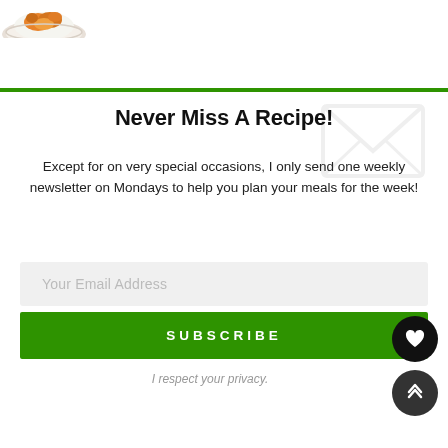[Figure (photo): Partial view of a food dish (orange/yellow food in a white bowl) in the top-left corner]
Never Miss A Recipe!
Except for on very special occasions, I only send one weekly newsletter on Mondays to help you plan your meals for the week!
Your Email Address
SUBSCRIBE
I respect your privacy.